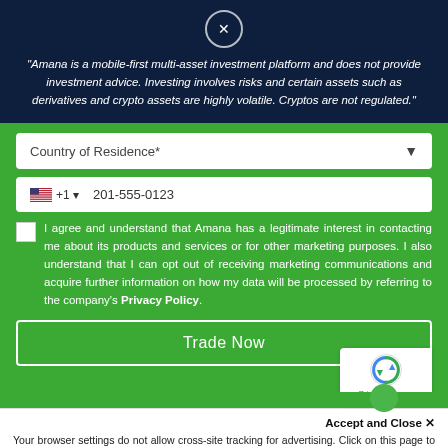"Amana is a mobile-first multi-asset investment platform and does not provide investment advice. Investing involves risks and certain assets such as derivatives and crypto assets are highly volatile. Cryptos are not regulated."
Country of Residence*
+1  201-555-0123
I agree and understand that Amana has a legitimate interest in contacting me about its products and services or for other marketing purposes. I also understand that I can opt out of receiving marketing communications and acquire further information on how my data will be processed by referring to the company's Privacy Policy.
Trade Now
Accept and Close ✕
Your browser settings do not allow cross-site tracking for advertising. Click on this page to allow AdRoll to use cross-site tracking to tailor ads to you. Learn more or opt out of this AdRoll tracking by clicking here. This message only appears once.